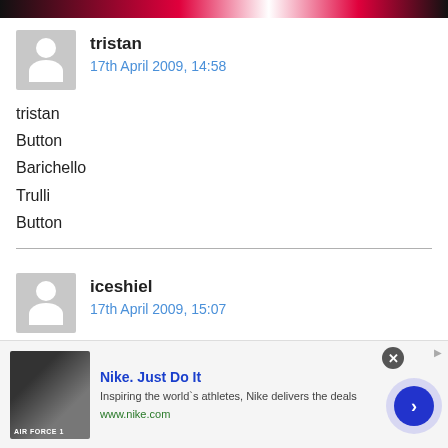[Figure (screenshot): Top banner with Nike branding colors (red, black, white)]
tristan
17th April 2009, 14:58
tristan
Button
Barichello
Trulli
Button
iceshiel
17th April 2009, 15:07
Iceshiel
Button
[Figure (screenshot): Nike advertisement banner: Nike. Just Do It. Inspiring the world's athletes, Nike delivers the deals. www.nike.com]